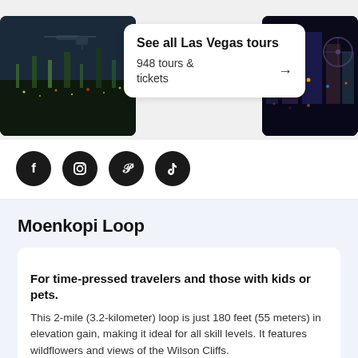[Figure (photo): Two photos of Las Vegas at night with a white card overlay showing 'See all Las Vegas tours' with 948 tours & tickets and an arrow]
See all Las Vegas tours
948 tours & tickets →
[Figure (infographic): Four social media icons (Facebook, Instagram, Pinterest, TikTok) as dark circular buttons]
Moenkopi Loop
For time-pressed travelers and those with kids or pets.
This 2-mile (3.2-kilometer) loop is just 180 feet (55 meters) in elevation gain, making it ideal for all skill levels. It features wildflowers and views of the Wilson Cliffs.